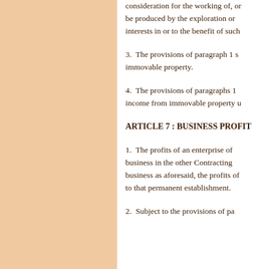consideration for the working of, or the right to work, natural resources; income from movable or immovable property used in connection with the maintenance of a permanent establishment may be produced by the exploration or exploitation of such resources; and (b) income from immovable property u interests in or to the benefit of such exploration or exploitation.
3. The provisions of paragraph 1 shall also apply to income from immovable property.
4. The provisions of paragraphs 1 and 2 shall also apply to the income from immovable property u income from immovable property u
ARTICLE 7 : BUSINESS PROFIT
1. The profits of an enterprise of a Contracting State shall be taxable only in that State unless the enterprise carries on business in the other Contracting State through a permanent establishment situated therein. If the enterprise carries on business as aforesaid, the profits of the enterprise may be taxed in the other State but only so much of them as is attributable to that permanent establishment.
2.  Subject to the provisions of pa